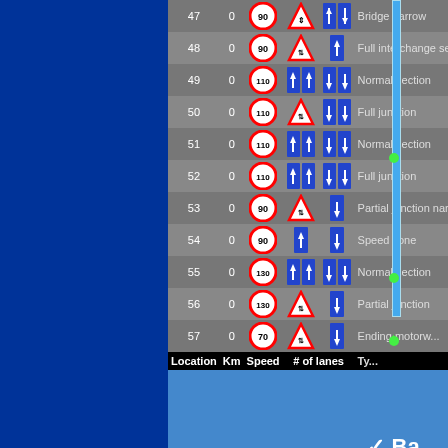| Location | Km | Speed | # of lanes (left) | # of lanes (right) | Type |
| --- | --- | --- | --- | --- | --- |
| 47 | 0 | 90 | narrow lanes icon | 2 lane icon | Bridge narrow |
| 48 | 0 | 90 | warning triangle | 1 lane icon | Full interchange section |
| 49 | 0 | 110 | 2 lane down icon | 2 lane up icon | Normal section |
| 50 | 0 | 110 | warning triangle | 2 lane up icon | Full junction |
| 51 | 0 | 110 | 2 lane down icon | 2 lane up icon | Normal section |
| 52 | 0 | 110 | 2 lane down icon | 2 lane up icon | Full junction |
| 53 | 0 | 90 | warning triangle | 1 lane up icon | Partial junction narrow section |
| 54 | 0 | 90 | 1 lane down icon | 1 lane up icon | Speed zone |
| 55 | 0 | 130 | 2 lane down icon | 2 lane up icon | Normal section |
| 56 | 0 | 130 | warning triangle | 1 lane up icon | Partial junction |
| 57 | 0 | 70 | warning triangle | 1 lane up icon | Ending motorway |